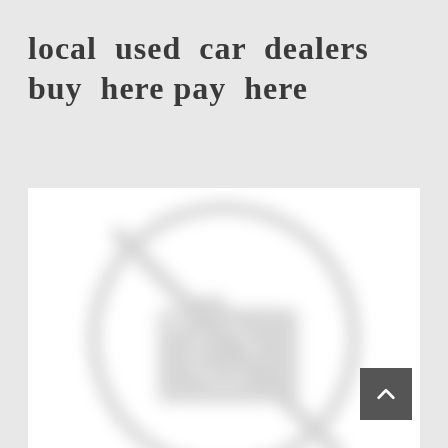local used car dealers buy here pay here
[Figure (illustration): Blurred placeholder image showing a no-photo icon: a camera inside a circle with a diagonal line through it, rendered in light gray tones on white background]